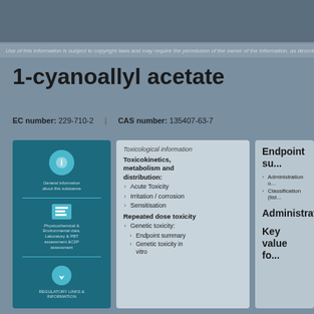Use of this information is subject to copyright laws and may require the permission of the owner of the information, as described in the ECHA Legal Notice.
1-cyanoallyl acetate
EC number: 229-710-2   |   CAS number: 135407-63-7
[Figure (infographic): Teal information panel with icons and labels for regulatory/safety sections]
Toxicological information
Toxicokinetics, metabolism and distribution:
Acute Toxicity
Irritation / corrosion
Sensitisation
Repeated dose toxicity
Genetic toxicity:
Endpoint summary
Genetic toxicity in vitro
Endpoint su...
Administration o...
Classification (list...)
Administratio...
Key value fo...